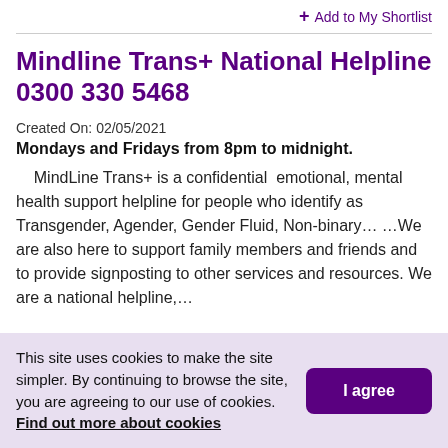+ Add to My Shortlist
Mindline Trans+ National Helpline 0300 330 5468
Created On: 02/05/2021
Mondays and Fridays from 8pm to midnight.
MindLine Trans+ is a confidential  emotional, mental health support helpline for people who identify as Transgender, Agender, Gender Fluid, Non-binary… …We are also here to support family members and friends and to provide signposting to other services and resources. We are a national helpline,…
This site uses cookies to make the site simpler. By continuing to browse the site, you are agreeing to our use of cookies. Find out more about cookies